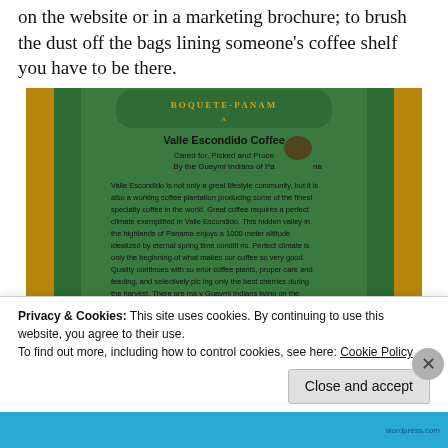on the website or in a marketing brochure; to brush the dust off the bags lining someone's coffee shelf you have to be there.
[Figure (photo): Close-up photo of a green and gold coffee bag label for Valle Escondido Coffee, showing text: 'Cared for, Picked and Processed By the Guaymi Indians of Panama'. The label describes Valle Escondido as a great lifestyle community and working coffee plantation producing specialty coffee in the world, grown in a hidden valley in the highlands of Panama at 1000 meter altitude.]
Privacy & Cookies: This site uses cookies. By continuing to use this website, you agree to their use.
To find out more, including how to control cookies, see here: Cookie Policy
Close and accept